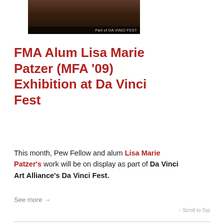[Figure (photo): A person in a red outfit against a brick wall background. Overlay text reads 'Part of DA VINCI FEST']
FMA Alum Lisa Marie Patzer (MFA '09) Exhibition at Da Vinci Fest
This month, Pew Fellow and alum Lisa Marie Patzer's work will be on display as part of Da Vinci Art Alliance's Da Vinci Fest.
See more →
↑ Scroll to Top